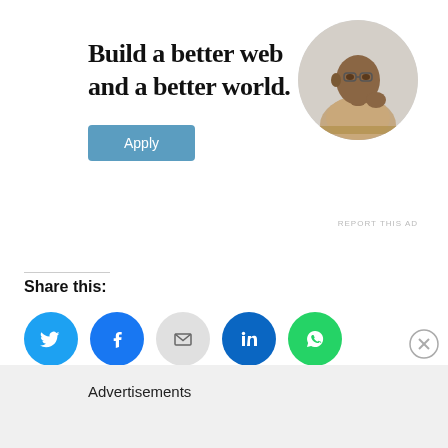[Figure (infographic): Job advertisement banner: 'Build a better web and a better world.' with an Apply button and a circular photo of a man thinking at a desk. 'REPORT THIS AD' text in upper right area.]
Share this:
[Figure (infographic): Row of five social share icon circles: Twitter (blue), Facebook (blue), Email (grey), LinkedIn (dark blue), WhatsApp (green)]
Advertisements
[Figure (infographic): Grey bottom advertisement bar with close (X) button]